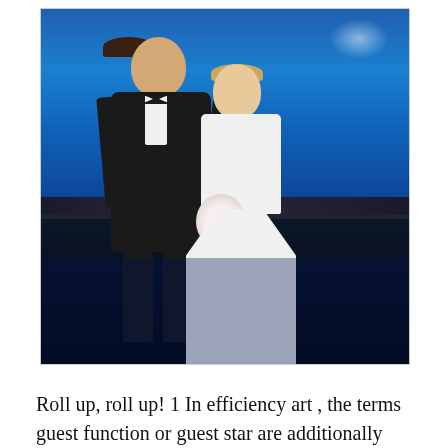[Figure (photo): Wedding photo of a bride and groom standing in front of a large blue aquarium tank. The groom wears a black tuxedo with bow tie and the bride wears a white mermaid-style lace gown and holds a white bouquet.]
Roll up, roll up! 1 In efficiency art , the terms guest function or guest star are additionally